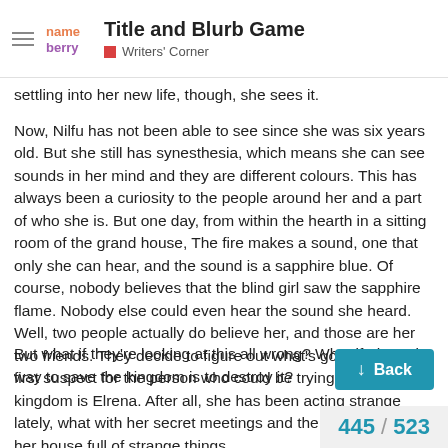Title and Blurb Game — Writers' Corner
settling into her new life, though, she sees it.
Now, Nilfu has not been able to see since she was six years old. But she still has synesthesia, which means she can see sounds in her mind and they are different colours. This has always been a curiosity to the people around her and a part of who she is. But one day, from within the hearth in a sitting room of the grand house, The fire makes a sound, one that only she can hear, and the sound is a sapphire blue. Of course, nobody believes that the blind girl saw the sapphire flame. Nobody else could even hear the sound she heard. Well, two people actually do believe her, and those are her two friends. They decide to figure out what's going on. The first suspect for the person who could be trying to destroy the kingdom is Elrena. After all, she has been acting strange lately, what with her secret meetings and the hidden rooms in her house full of strange things.
But what if they're looking at this all wrong? What if The only way to save the kingdom is to destroy it?